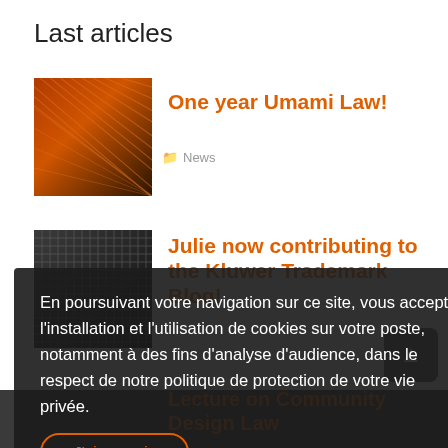Last articles
[Figure (photo): Abstract orange metallic lines texture image]
One year Umami Law!
News
[Figure (photo): Dark mesh/grid texture image]
Julie now contributing to the Kluwer Trademark Blog!
Lecture on Community Design Law
En poursuivant votre navigation sur ce site, vous acceptez l'installation et l'utilisation de cookies sur votre poste, notamment à des fins d'analyse d'audience, dans le respect de notre politique de protection de votre vie privée.
J'ai compris